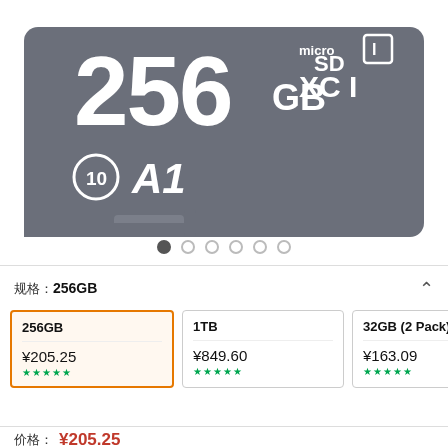[Figure (photo): A gray microSD XC I card showing 256GB, Class 10, A1, microSDXC UHS-I markings on the card face]
Pagination dots: 6 dots, first dot active
规格: 256GB
256GB ¥205.25 (selected, with star rating)
1TB ¥849.60 (with star rating)
32GB (2 Pack) ¥163.09 (with star rating)
价格: ¥205.25